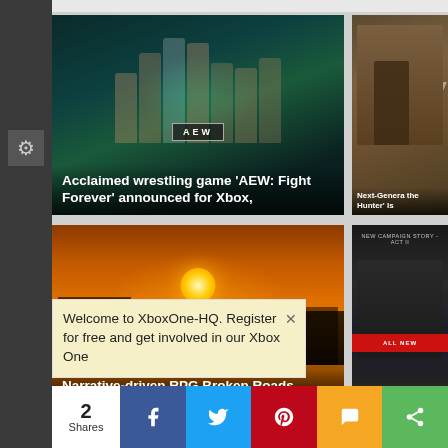[Figure (screenshot): Gaming news website card: AEW Fight Forever wrestling game announcement with wrestlers posed against dark teal background with AEW logo]
Acclaimed wrestling game 'AEW: Fight Forever' announced for Xbox,
[Figure (screenshot): Partially visible gaming news card: Next-Generation the Hunter Is - soldier in camouflage against war-torn background with large W logo]
Next-Generation the Hunter' Is
[Figure (screenshot): Gaming news website card: Narrative-driven RPG Broken Roads heading to Xbox, PlayStation, Switch & - post-apocalyptic sunset scene with silhouetted figures]
Narrative-driven RPG Broken Roads heading to Xbox, Playstation, Switch &
[Figure (screenshot): Partially visible gaming news card: Back 4 Blood DLC Expansion - dark image with red bar and NEW CAMPAIGN STORY ACT II text]
Back 4 Blood' DLC Expansio
Welcome to XboxOne-HQ. Register for free and get involved in our Xbox One
2
Shares